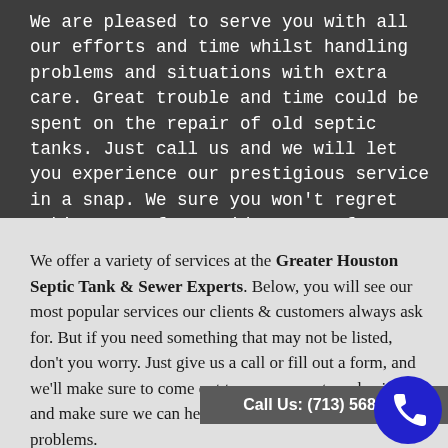We are pleased to serve you with all our efforts and time whilst handling problems and situations with extra care. Great trouble and time could be spent on the repair of old septic tanks. Just call us and we will let you experience our prestigious service in a snap. We sure you won't regret making use of our wide range of services at your choice. From the comfort of your home, we will offer you world-class services which will give you the utmost satisfaction.
We offer a variety of services at the Greater Houston Septic Tank & Sewer Experts. Below, you will see our most popular services our clients & customers always ask for. But if you need something that may not be listed, don't you worry. Just give us a call or fill out a form, and we'll make sure to come out to your property or business and make sure we can help you solve your septic problems.
Call Us: (713) 568-0151